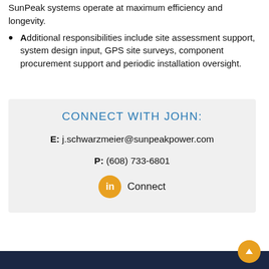SunPeak systems operate at maximum efficiency and longevity.
Additional responsibilities include site assessment support, system design input, GPS site surveys, component procurement support and periodic installation oversight.
CONNECT WITH JOHN:
E: j.schwarzmeier@sunpeakpower.com
P: (608) 733-6801
Connect